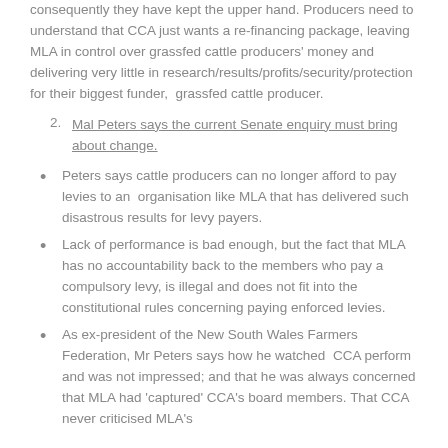consequently they have kept the upper hand. Producers need to understand that CCA just wants a re-financing package, leaving MLA in control over grassfed cattle producers' money and delivering very little in research/results/profits/security/protection for their biggest funder,  grassfed cattle producer.
2. Mal Peters says the current Senate enquiry must bring about change.
Peters says cattle producers can no longer afford to pay levies to an  organisation like MLA that has delivered such disastrous results for levy payers.
Lack of performance is bad enough, but the fact that MLA has no accountability back to the members who pay a compulsory levy, is illegal and does not fit into the constitutional rules concerning paying enforced levies.
As ex-president of the New South Wales Farmers Federation, Mr Peters says how he watched  CCA perform and was not impressed; and that he was always concerned that MLA had 'captured' CCA's board members. That CCA never criticised MLA's